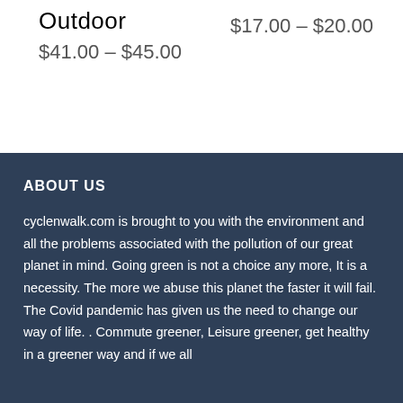Outdoor
$41.00 – $45.00
$17.00 – $20.00
ABOUT US
cyclenwalk.com is brought to you with the environment and all the problems associated with the pollution of our great planet in mind. Going green is not a choice any more, It is a necessity. The more we abuse this planet the faster it will fail. The Covid pandemic has given us the need to change our way of life. . Commute greener, Leisure greener, get healthy in a greener way and if we all